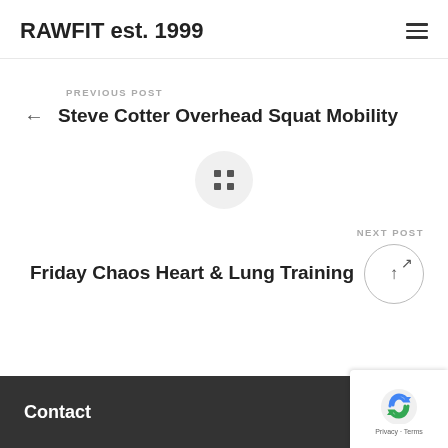RAWFIT est. 1999
PREVIOUS POST
Steve Cotter Overhead Squat Mobility
[Figure (other): Grid dots icon in a light circle, representing all posts navigation]
NEXT POST
Friday Chaos Heart & Lung Training
Contact